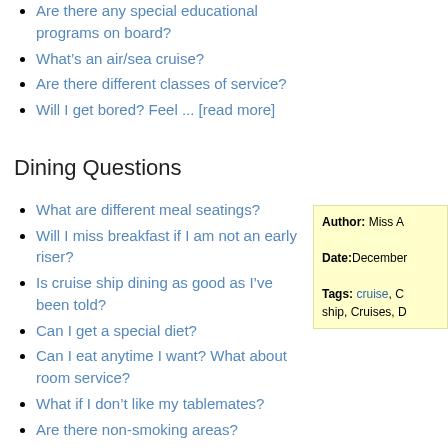Are there any special educational programs on board?
What's an air/sea cruise?
Are there different classes of service?
Will I get bored? Feel ... [read more]
Dining Questions
What are different meal seatings?
Will I miss breakfast if I am not an early riser?
Is cruise ship dining as good as I've been told?
Can I get a special diet?
Can I eat anytime I want? What about room service?
What if I don't like my tablemates?
Are there non-smoking areas?
Can we celebrate a special occasion?
What about tipping?
Author: Miss ...
Date: December...
Tags: cruise, C... ship, Cruises, D...
Q: What are different meal seatings? A: Some ships' dining rooms can accommodate all passengers in one "seating." But most ships have two seatings, which